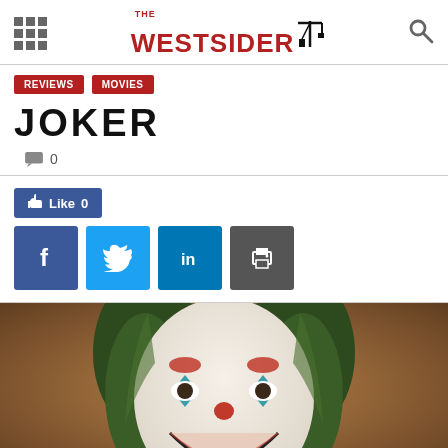THE WESTSIDER
REVIEWS
MOVIES
JOKER
0 comments
[Figure (screenshot): Social sharing buttons: Like 0 (Facebook like), Facebook share, Twitter share, LinkedIn share, Print button]
[Figure (photo): Close-up photo of Joaquin Phoenix as the Joker character, wearing white face paint with red and teal diamond markings around the eyes, red nose, green hair, smiling expression, warm brown background]